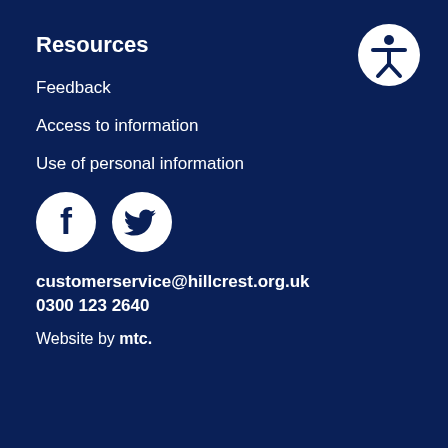Resources
Feedback
Access to information
Use of personal information
[Figure (illustration): White circle icons for Facebook and Twitter social media on dark navy background]
customerservice@hillcrest.org.uk
0300 123 2640
Website by mtc.
[Figure (illustration): Accessibility icon: white circle with person figure on dark navy background, top right corner]